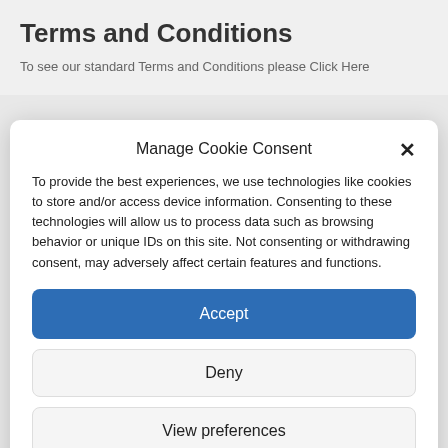Terms and Conditions
To see our standard Terms and Conditions please Click Here
Manage Cookie Consent
To provide the best experiences, we use technologies like cookies to store and/or access device information. Consenting to these technologies will allow us to process data such as browsing behavior or unique IDs on this site. Not consenting or withdrawing consent, may adversely affect certain features and functions.
Accept
Deny
View preferences